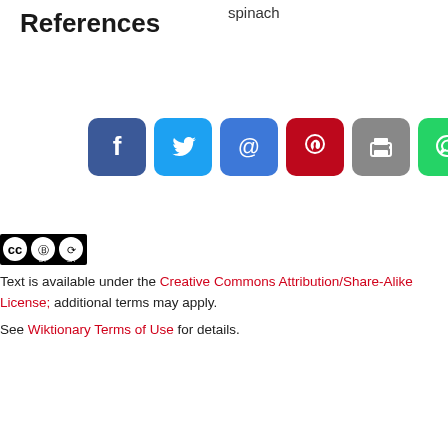References
spinach
[Figure (infographic): Social sharing buttons: Facebook, Twitter, Email (@), Pinterest, Print, WhatsApp]
[Figure (logo): Creative Commons BY-SA license badge]
Text is available under the Creative Commons Attribution/Share-Alike License; additional terms may apply.
See Wiktionary Terms of Use for details.